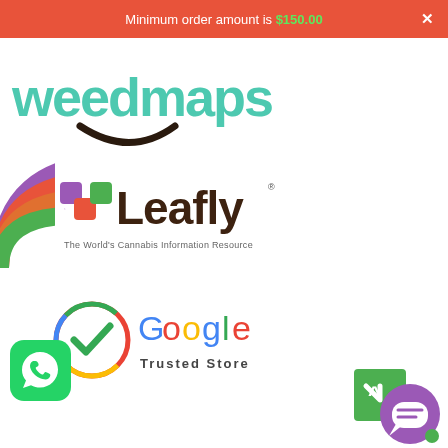Minimum order amount is $150.00
[Figure (logo): Weedmaps logo with teal/green text and smile arc]
[Figure (logo): Leafly logo with colorful squares icon and tagline 'The World's Cannabis Information Resource', with rainbow arc on left]
[Figure (logo): Google Trusted Store badge with checkmark circle and Google wordmark]
[Figure (logo): WhatsApp icon - green rounded square with phone handset]
[Figure (other): Chat widget with green square chevron and purple chat bubble with green dot]